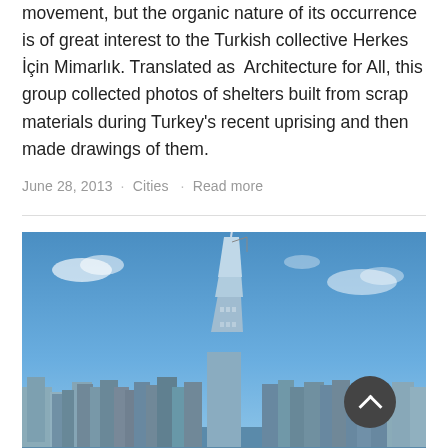movement, but the organic nature of its occurrence is of great interest to the Turkish collective Herkes İçin Mimarlık. Translated as  Architecture for All, this group collected photos of shelters built from scrap materials during Turkey's recent uprising and then made drawings of them.
June 28, 2013 · Cities · Read more
[Figure (photo): Skyline photograph showing a dense city with a very tall skyscraper (resembling Shanghai Tower or similar) in the center, against a blue sky with scattered clouds. Multiple shorter modern buildings surround it.]